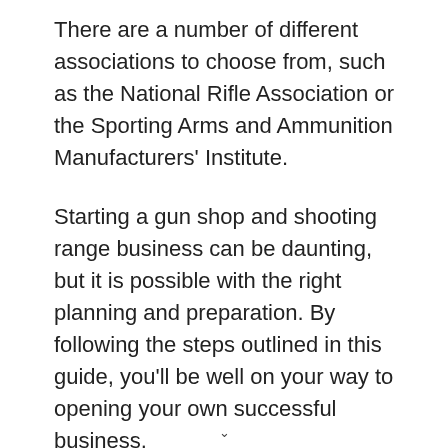There are a number of different associations to choose from, such as the National Rifle Association or the Sporting Arms and Ammunition Manufacturers' Institute.
Starting a gun shop and shooting range business can be daunting, but it is possible with the right planning and preparation. By following the steps outlined in this guide, you'll be well on your way to opening your own successful business.
Related